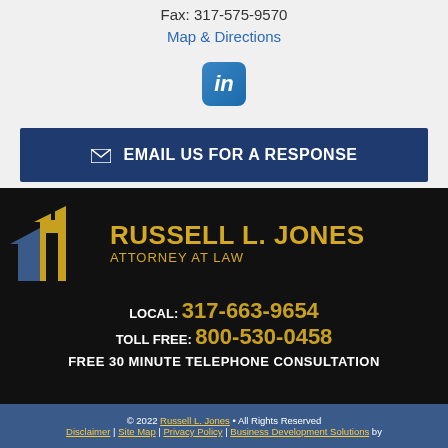Fax: 317-575-9570
Map & Directions
[Figure (logo): LinkedIn icon button - blue rounded square with white 'in' text]
✉ EMAIL US FOR A RESPONSE
[Figure (logo): Russell L. Jones Attorney at Law logo with house/building icon in gold and blue on black background]
RUSSELL L. JONES ATTORNEY AT LAW
LOCAL: 317-663-9654
TOLL FREE: 800-530-0458
FREE 30 MINUTE TELEPHONE CONSULTATION
© 2022 Russell L. Jones • All Rights Reserved
Disclaimer | Site Map | Privacy Policy | Business Development Solutions by FindLaw, part of Thomson Reuters